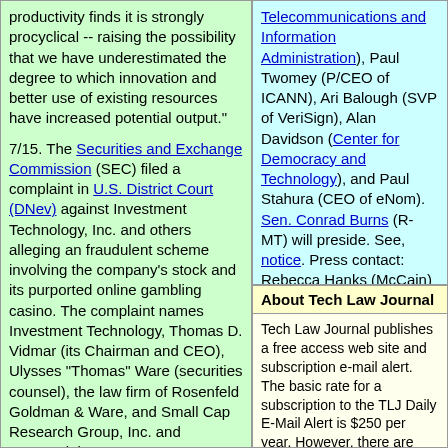productivity finds it is strongly procyclical -- raising the possibility that we have underestimated the degree to which innovation and better use of existing resources have increased potential output."
7/15. The Securities and Exchange Commission (SEC) filed a complaint in U.S. District Court (DNev) against Investment Technology, Inc. and others alleging an fraudulent scheme involving the company's stock and its purported online gambling casino. The complaint names Investment Technology, Thomas D. Vidmar (its Chairman and CEO), Ulysses "Thomas" Ware (securities counsel), the law firm of Rosenfeld Goldman & Ware, and Small Cap Research Group, Inc. and Centennial
Telecommunications and Information Administration), Paul Twomey (P/CEO of ICANN), Ari Balough (SVP of VeriSign), Alan Davidson (Center for Democracy and Technology), and Paul Stahura (CEO of eNom). Sen. Conrad Burns (R-MT) will preside. See, notice. Press contact: Rebecca Hanks (McCain) 202 224-2670 or Andy Davis (Hollings) at 202 224-6654. Location: Room 253, Russell Building.
About Tech Law Journal
Tech Law Journal publishes a free access web site and subscription e-mail alert. The basic rate for a subscription to the TLJ Daily E-Mail Alert is $250 per year. However, there are discounts for subscribers